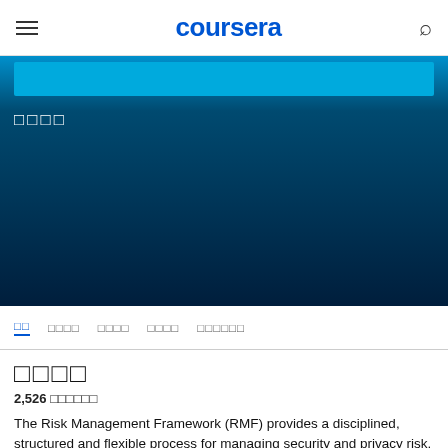coursera
[Figure (screenshot): Coursera course hero banner with dark blue gradient background and a bright blue bar at top. White placeholder text characters visible on dark background.]
□□ □□□□ □□□□ □□□□ □□□□□□□
□□□□
2,526 □□□□□□
The Risk Management Framework (RMF) provides a disciplined, structured and flexible process for managing security and privacy risk. It includes information security categorization;